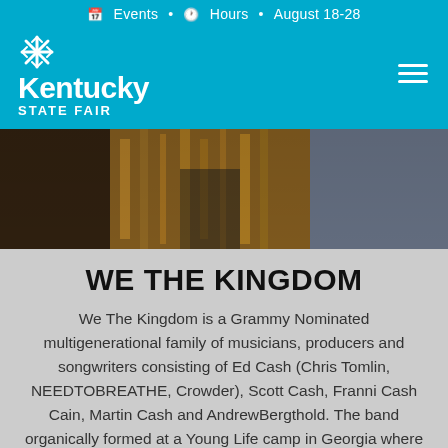Events • Hours • August 18-28
[Figure (logo): Kentucky State Fair logo with snowflake icon, white text on blue background]
[Figure (photo): Group photo of band members from the torso area, partially cropped]
WE THE KINGDOM
We The Kingdom is a Grammy Nominated multigenerational family of musicians, producers and songwriters consisting of Ed Cash (Chris Tomlin, NEEDTOBREATHE, Crowder), Scott Cash, Franni Cash Cain, Martin Cash and AndrewBergthold. The band organically formed at a Young Life camp in Georgia where each of the five